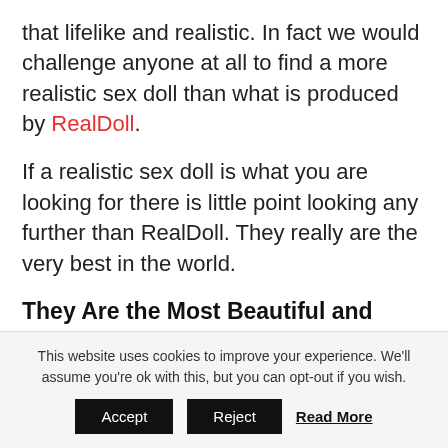that lifelike and realistic. In fact we would challenge anyone at all to find a more realistic sex doll than what is produced by RealDoll.
If a realistic sex doll is what you are looking for there is little point looking any further than RealDoll. They really are the very best in the world.
They Are the Most Beautiful and Sexy
There are plenty of sex dolls on sale. However, when you start comparing sex dolls you none compete with RealDoll. Each and every RealDoll has been expertly
This website uses cookies to improve your experience. We'll assume you're ok with this, but you can opt-out if you wish.